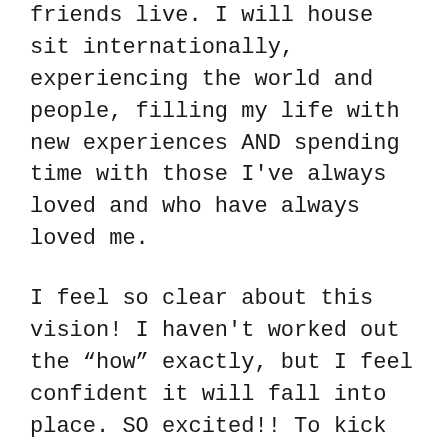friends live. I will house sit internationally, experiencing the world and people, filling my life with new experiences AND spending time with those I've always loved and who have always loved me.
I feel so clear about this vision! I haven't worked out the “how” exactly, but I feel confident it will fall into place. SO excited!! To kick it off, I recently went to Spain for two weeks (solo) and confirmed what I already knew; that I am in love with travel.
Your posts should be a guide book for life. I forward many to my 21 and 19 year old children. I hope they pay attention. I could have used your wisdom when I was their